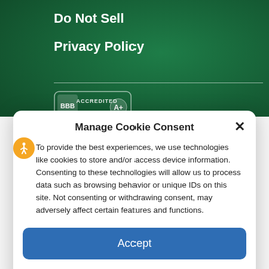Do Not Sell
Privacy Policy
[Figure (logo): BBB Accredited business badge with A+ rating]
Manage Cookie Consent
To provide the best experiences, we use technologies like cookies to store and/or access device information. Consenting to these technologies will allow us to process data such as browsing behavior or unique IDs on this site. Not consenting or withdrawing consent, may adversely affect certain features and functions.
Accept
Cookie Policy  Privacy Statement